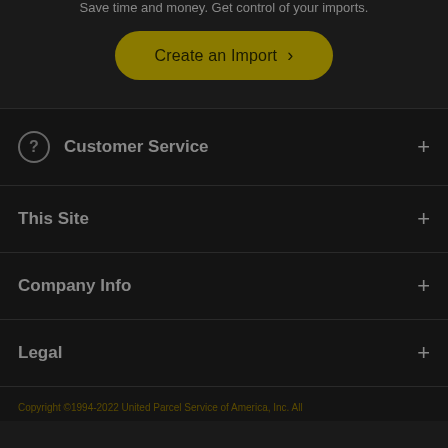Save time and money. Get control of your imports.
Create an Import >
Customer Service
This Site
Company Info
Legal
Copyright ©1994-2022 United Parcel Service of America, Inc. All